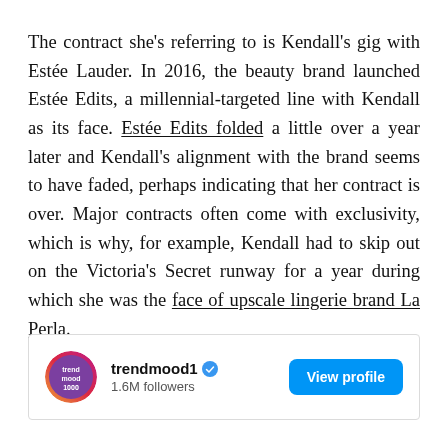The contract she's referring to is Kendall's gig with Estée Lauder. In 2016, the beauty brand launched Estée Edits, a millennial-targeted line with Kendall as its face. Estée Edits folded a little over a year later and Kendall's alignment with the brand seems to have faded, perhaps indicating that her contract is over. Major contracts often come with exclusivity, which is why, for example, Kendall had to skip out on the Victoria's Secret runway for a year during which she was the face of upscale lingerie brand La Perla.
[Figure (screenshot): Instagram profile card for trendmood1 showing avatar, username with verified badge, 1.6M followers count, and a blue View profile button]